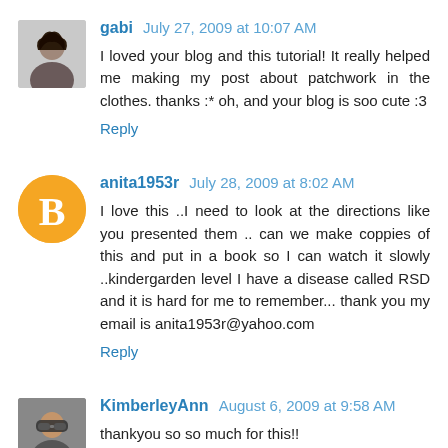gabi  July 27, 2009 at 10:07 AM
I loved your blog and this tutorial! It really helped me making my post about patchwork in the clothes. thanks :* oh, and your blog is soo cute :3
Reply
anita1953r  July 28, 2009 at 8:02 AM
I love this ..I need to look at the directions like you presented them .. can we make coppies of this and put in a book so I can watch it slowly ..kindergarden level I have a disease called RSD and it is hard for me to remember... thank you my email is anita1953r@yahoo.com
Reply
KimberleyAnn  August 6, 2009 at 9:58 AM
thankyou so so much for this!! i just completed my first one, and even though it's a little bit